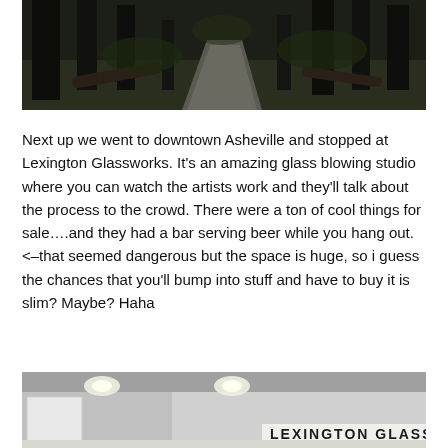[Figure (photo): Dark forest trail with gravel path winding between tall trees, with fallen logs visible on the sides]
Next up we went to downtown Asheville and stopped at Lexington Glassworks. It's an amazing glass blowing studio where you can watch the artists work and they'll talk about the process to the crowd. There were a ton of cool things for sale….and they had a bar serving beer while you hang out. <–that seemed dangerous but the space is huge, so i guess the chances that you'll bump into stuff and have to buy it is slim? Maybe? Haha
[Figure (photo): Interior of Lexington Glassworks studio with ceiling lights and a sign reading LEXINGTON GLASS]